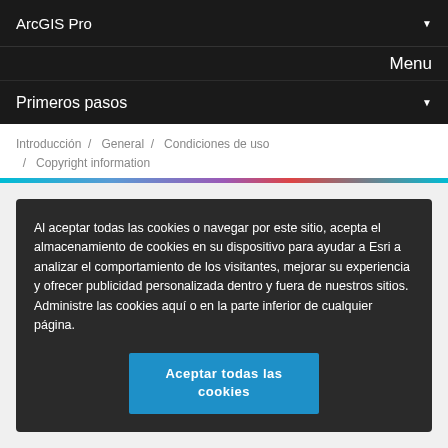ArcGIS Pro
Menu
Primeros pasos
Introducción / General / Condiciones de uso / Copyright information
Al aceptar todas las cookies o navegar por este sitio, acepta el almacenamiento de cookies en su dispositivo para ayudar a Esri a analizar el comportamiento de los visitantes, mejorar su experiencia y ofrecer publicidad personalizada dentro y fuera de nuestros sitios. Administre las cookies aquí o en la parte inferior de cualquier página.
Aceptar todas las cookies